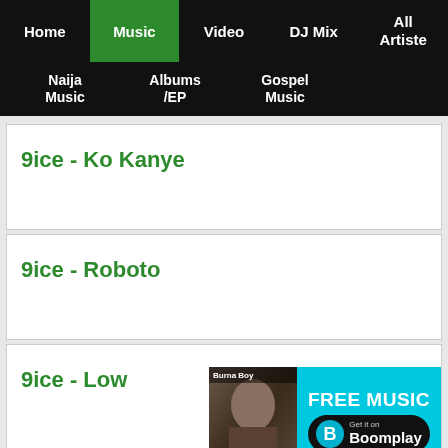Home | Music | Video | DJ Mix | All Artiste | Naija Music | Albums/EP | Gospel Music
9ice - Ko Kanye
9ice - Roboto
9ice - Low
[Figure (infographic): FREE MUSIC banner ad for Boomplay app featuring Burna Boy artist photo, cyan background, white FREE MUSIC text, and Get it on Boomplay black button with logo]